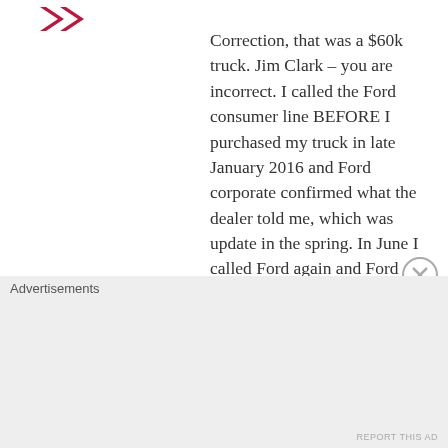[Figure (logo): Red chevron/arrow logo marks at top left]
Correction, that was a $60k truck. Jim Clark – you are incorrect. I called the Ford consumer line BEFORE I purchased my truck in late January 2016 and Ford corporate confirmed what the dealer told me, which was update in the spring. In June I called Ford again and Ford corporate told me in the Fall. I called Ford corporate again in November only to be told “we have no date at this
Advertisements